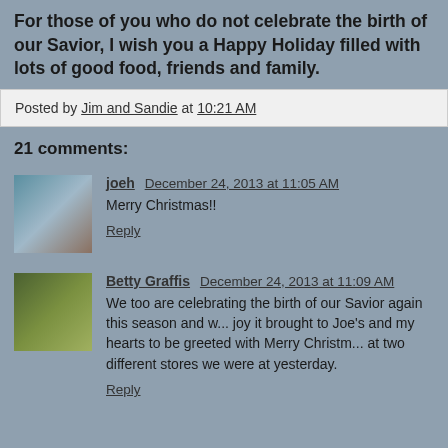For those of you who do not celebrate the birth of our Savior, I wish you a Happy Holiday filled with lots of good food, friends and family.
Posted by Jim and Sandie at 10:21 AM
21 comments:
joeh December 24, 2013 at 11:05 AM
Merry Christmas!!
Reply
Betty Graffis December 24, 2013 at 11:09 AM
We too are celebrating the birth of our Savior again this season and w... joy it brought to Joe's and my hearts to be greeted with Merry Christm... at two different stores we were at yesterday.
Reply